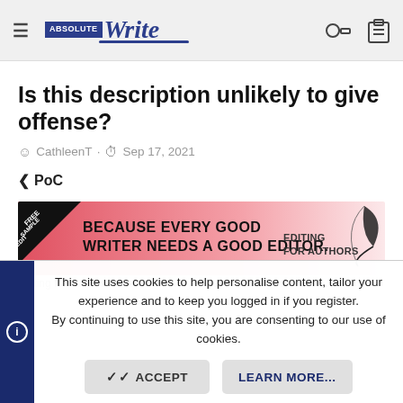Absolute Write — navigation header with logo, hamburger menu, key icon, and clipboard icon
Is this description unlikely to give offense?
CathleenT · Sep 17, 2021
< PoC
[Figure (illustration): Advertisement banner: pink/red gradient background with black triangle corner tag reading FREE SAMPLE EDIT. Text: BECAUSE EVERY GOOD WRITER NEEDS A GOOD EDITOR. EDITING FOR AUTHORS. Feather quill illustration on right.]
This site uses cookies to help personalise content, tailor your experience and to keep you logged in if you register. By continuing to use this site, you are consenting to our use of cookies.
ACCEPT   LEARN MORE...